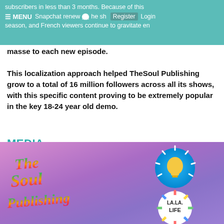subscribers in less than 3 months. Because of this Snapchat renewed the show a second season, and French viewers continue to gravitate en masse to each new episode.
This localization approach helped TheSoul Publishing grow to a total of 16 million followers across all its shows, with this specific content proving to be extremely popular in the key 18-24 year old demo.
MEDIA
Video for TheSoul Publishing on Snapchat
[Figure (illustration): TheSoul Publishing logo in colorful gradient lettering on a purple background, with a lightbulb icon badge and a LA LA LIFE circular badge]